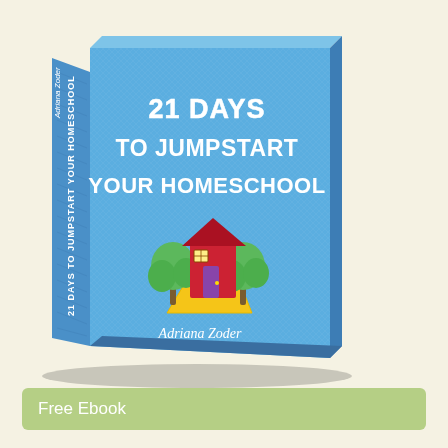[Figure (illustration): 3D book cover illustration for '21 Days to Jumpstart Your Homeschool' by Adriana Zoder. The book has a blue textured cover with white bold title text and a cartoon illustration of a red house flanked by two green trees with a yellow path, on a blue background. The book spine shows the title and author name vertically.]
Free Ebook